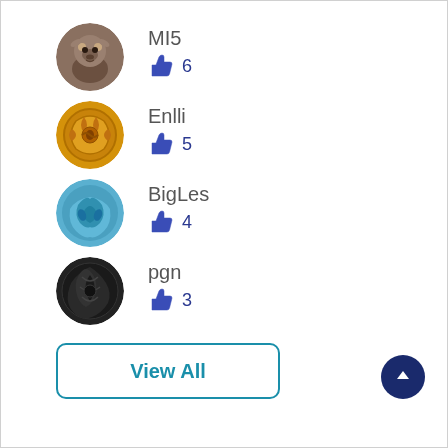MI5 👍 6
Enlli 👍 5
BigLes 👍 4
pgn 👍 3
View All